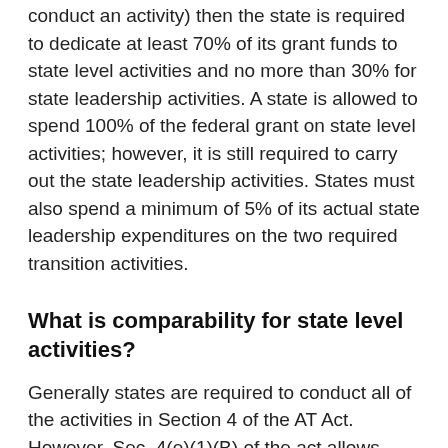conduct an activity) then the state is required to dedicate at least 70% of its grant funds to state level activities and no more than 30% for state leadership activities. A state is allowed to spend 100% of the federal grant on state level activities; however, it is still required to carry out the state leadership activities. States must also spend a minimum of 5% of its actual state leadership expenditures on the two required transition activities.
What is comparability for state level activities?
Generally states are required to conduct all of the activities in Section 4 of the AT Act. However, Sec. 4(e)(1)(B) of the act allows states not to fund a